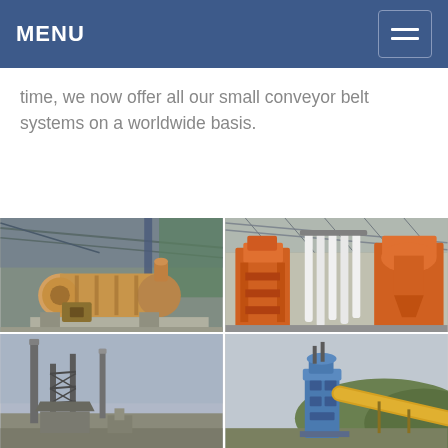MENU
time, we now offer all our small conveyor belt systems on a worldwide basis.
[Figure (photo): Industrial facility showing a large cylindrical rotary drum/kiln machine in a factory setting]
[Figure (photo): Industrial facility showing large orange processing machinery with white hoses/tubes hanging down inside a warehouse]
[Figure (photo): Outdoor industrial facility with tall chimney stacks and scaffolding structure]
[Figure (photo): Outdoor industrial site showing blue machinery/silo structure with a large yellow conveyor pipe and hilly background]